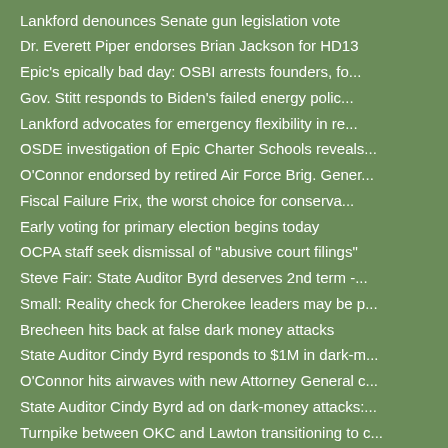Lankford denounces Senate gun legislation vote
Dr. Everett Piper endorses Brian Jackson for HD13
Epic's epically bad day: OSBI arrests founders, fo...
Gov. Stitt responds to Biden's failed energy polic...
Lankford advocates for emergency flexibility in re...
OSDE investigation of Epic Charter Schools reveals...
O'Connor endorsed by retired Air Force Brig. Gener...
Fiscal Failure Frix, the worst choice for conserva...
Early voting for primary election begins today
OCPA staff seek dismissal of "abusive court filings"
Steve Fair: State Auditor Byrd deserves 2nd term -...
Small: Reality check for Cherokee leaders may be p...
Brecheen hits back at false dark money attacks
State Auditor Cindy Byrd responds to $1M in dark-m...
O'Connor hits airwaves with new Attorney General c...
State Auditor Cindy Byrd ad on dark-money attacks:...
Turnpike between OKC and Lawton transitioning to c...